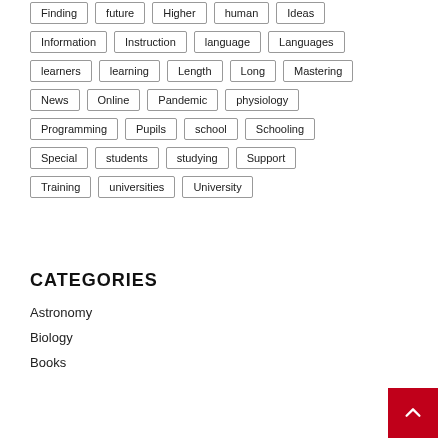Finding
future
Higher
human
Ideas
Information
Instruction
language
Languages
learners
learning
Length
Long
Mastering
News
Online
Pandemic
physiology
Programming
Pupils
school
Schooling
Special
students
studying
Support
Training
universities
University
CATEGORIES
Astronomy
Biology
Books